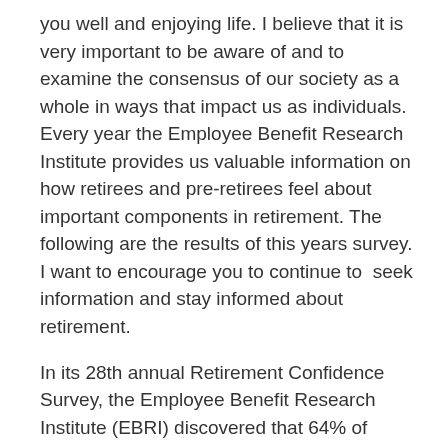you well and enjoying life. I believe that it is very important to be aware of and to examine the consensus of our society as a whole in ways that impact us as individuals. Every year the Employee Benefit Research Institute provides us valuable information on how retirees and pre-retirees feel about important components in retirement. The following are the results of this years survey. I want to encourage you to continue to  seek information and stay informed about retirement.
In its 28th annual Retirement Confidence Survey, the Employee Benefit Research Institute (EBRI) discovered that 64% of today's workers feel very or somewhat confident in having enough money to retire comfortably, up from 60% in 2017. And although far more retirees are very confident in their retirement prospects than workers (32% versus 17%, respectively), retiree confidence in